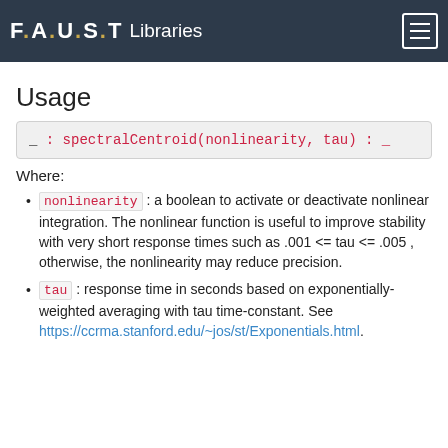FAUST Libraries
desirable for musical applications. For example, if the input contains pure tones at 1000, 2000, and 4000 Hz, the centroid will be the middle octave.
Usage
Where:
nonlinearity : a boolean to activate or deactivate nonlinear integration. The nonlinear function is useful to improve stability with very short response times such as .001 <= tau <= .005 , otherwise, the nonlinearity may reduce precision.
tau : response time in seconds based on exponentially-weighted averaging with tau time-constant. See https://ccrma.stanford.edu/~jos/st/Exponentials.html.